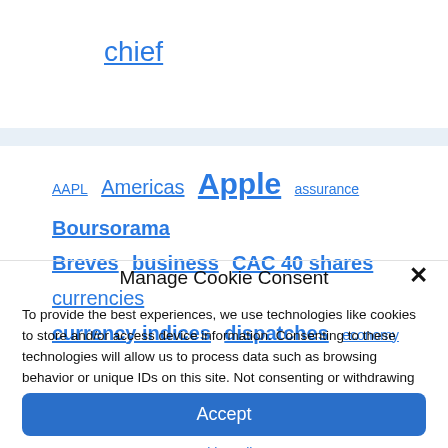chief
AAPL  Americas  Apple  assurance  Boursorama  Breves  business  CAC 40 shares  currencies  currency indices  dispatches  economy
Manage Cookie Consent
To provide the best experiences, we use technologies like cookies to store and/or access device information. Consenting to these technologies will allow us to process data such as browsing behavior or unique IDs on this site. Not consenting or withdrawing consent, may adversely affect certain features and functions.
Accept
Cookie Policy